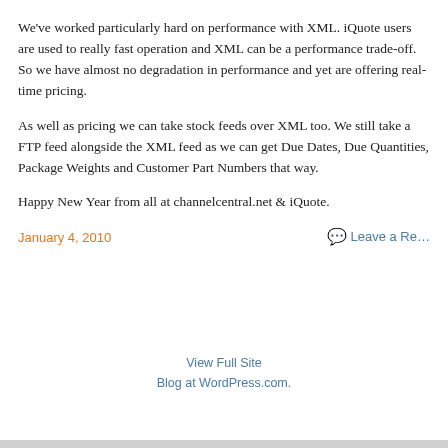We've worked particularly hard on performance with XML. iQuote users are used to really fast operation and XML can be a performance trade-off. So we have almost no degradation in performance and yet are offering real-time pricing.
As well as pricing we can take stock feeds over XML too. We still take a FTP feed alongside the XML feed as we can get Due Dates, Due Quantities, Package Weights and Customer Part Numbers that way.
Happy New Year from all at channelcentral.net & iQuote.
January 4, 2010
Leave a Re...
View Full Site
Blog at WordPress.com.